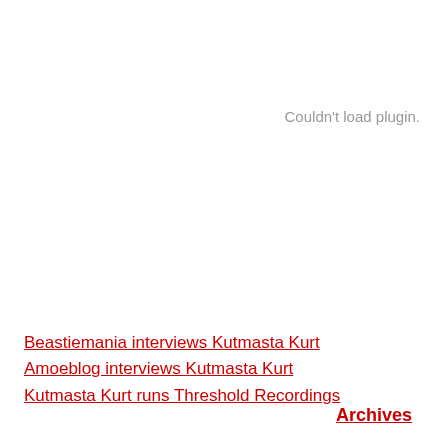Couldn't load plugin.
Beastiemania interviews Kutmasta Kurt
Amoeblog interviews Kutmasta Kurt
Kutmasta Kurt runs Threshold Recordings
Archives